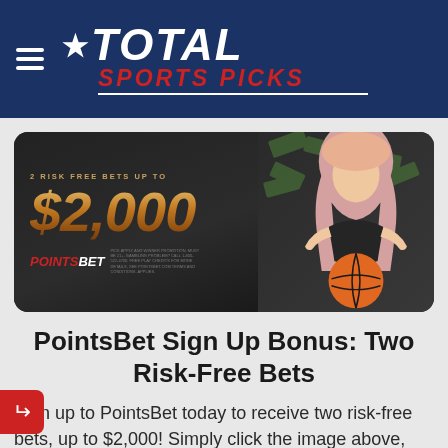[Figure (logo): Total Sports Picks logo with star, white italic TOTAL text, red italic SPORTS PICKS text on navy blue background with hamburger menu icon]
[Figure (infographic): PointsBet advertisement banner: '2 RISK FREE BETS UP TO $2,000' in gold metallic text on dark background, PointsBet logo in red and white, woman holding basketball with money bills falling]
PointsBet Sign Up Bonus: Two Risk-Free Bets
Sign up to PointsBet today to receive two risk-free bets, up to $2,000! Simply click the image above, sign up, and use PointsBet promo code